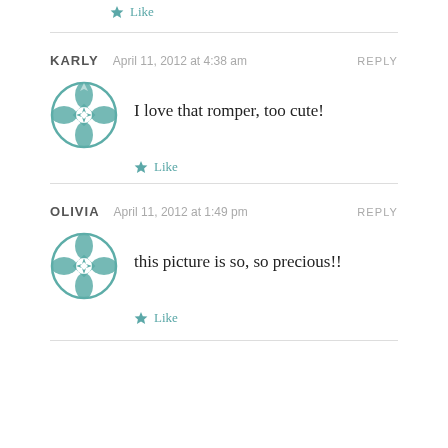Like
KARLY  April 11, 2012 at 4:38 am  REPLY
I love that romper, too cute!
Like
OLIVIA  April 11, 2012 at 1:49 pm  REPLY
this picture is so, so precious!!
Like